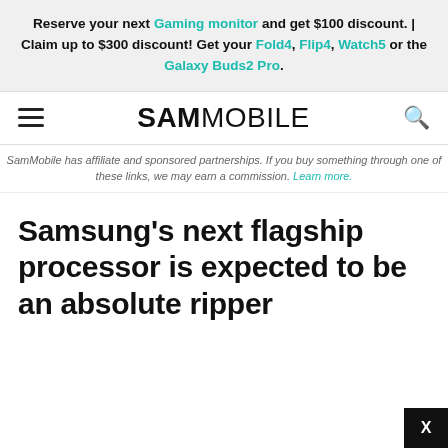Reserve your next Gaming monitor and get $100 discount. | Claim up to $300 discount! Get your Fold4, Flip4, Watch5 or the Galaxy Buds2 Pro.
SAMMOBILE
SamMobile has affiliate and sponsored partnerships. If you buy something through one of these links, we may earn a commission. Learn more.
Samsung’s next flagship processor is expected to be an absolute ripper